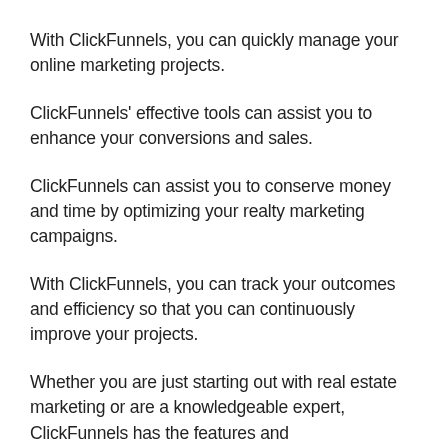With ClickFunnels, you can quickly manage your online marketing projects.
ClickFunnels' effective tools can assist you to enhance your conversions and sales.
ClickFunnels can assist you to conserve money and time by optimizing your realty marketing campaigns.
With ClickFunnels, you can track your outcomes and efficiency so that you can continuously improve your projects.
Whether you are just starting out with real estate marketing or are a knowledgeable expert, ClickFunnels has the features and